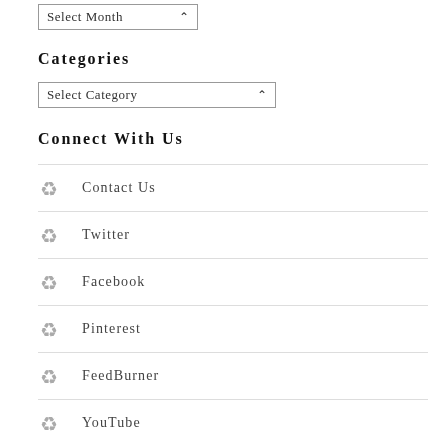[Figure (other): Select Month dropdown widget]
Categories
[Figure (other): Select Category dropdown widget]
Connect With Us
Contact Us
Twitter
Facebook
Pinterest
FeedBurner
YouTube